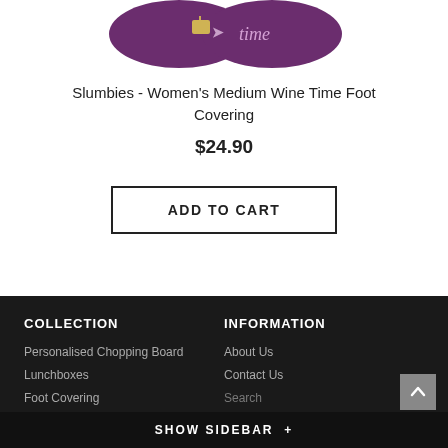[Figure (photo): Two purple circular slippers/foot coverings with decorative text, partially visible at top of page]
Slumbies - Women's Medium Wine Time Foot Covering
$24.90
ADD TO CART
COLLECTION
INFORMATION
Personalised Chopping Board
Lunchboxes
Foot Covering
Key Ring
About Us
Contact Us
Search
SHOW SIDEBAR +